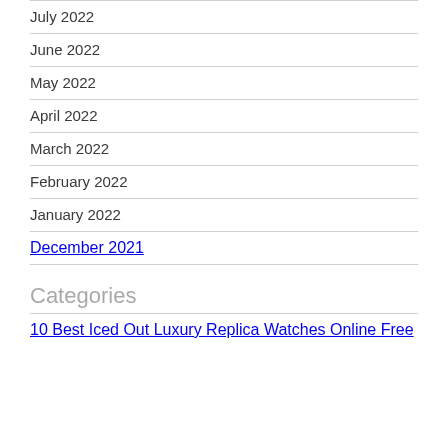July 2022
June 2022
May 2022
April 2022
March 2022
February 2022
January 2022
December 2021
Categories
10 Best Iced Out Luxury Replica Watches Online Free